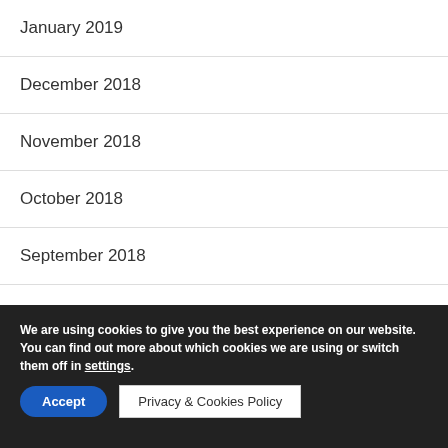January 2019
December 2018
November 2018
October 2018
September 2018
August 2018
We are using cookies to give you the best experience on our website.
You can find out more about which cookies we are using or switch them off in settings.
Accept
Privacy & Cookies Policy